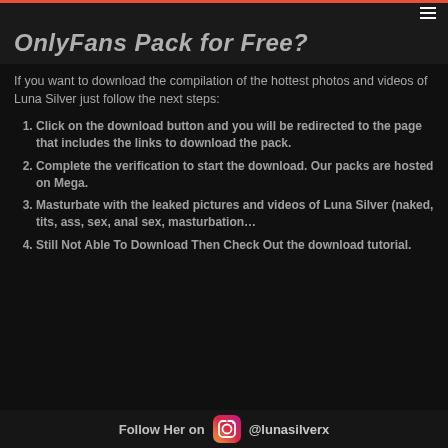OnlyFans Pack for Free?
If you want to download the compilation of the hottest photos and videos of Luna Silver just follow the next steps:
Click on the download button and you will be redirected to the page that includes the links to download the pack.
Complete the verification to start the download. Our packs are hosted on Mega.
Masturbate with the leaked pictures and videos of Luna Silver (naked, tits, ass, sex, anal sex, masturbation…
Still Not Able To Download Then Check Out the download tutorial.
Follow Her on @lunasilverx